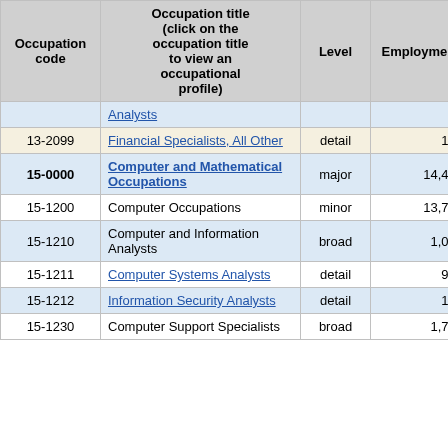| Occupation code | Occupation title (click on the occupation title to view an occupational profile) | Level | Employment | Employment RSE |
| --- | --- | --- | --- | --- |
|  | Analysts |  |  |  |
| 13-2099 | Financial Specialists, All Other | detail | 100 | 11. |
| 15-0000 | Computer and Mathematical Occupations | major | 14,460 | 4. |
| 15-1200 | Computer Occupations | minor | 13,730 | 4. |
| 15-1210 | Computer and Information Analysts | broad | 1,090 | 8. |
| 15-1211 | Computer Systems Analysts | detail | 960 | 10. |
| 15-1212 | Information Security Analysts | detail | 130 | 8. |
| 15-1230 | Computer Support Specialists | broad | 1,770 | 5. |